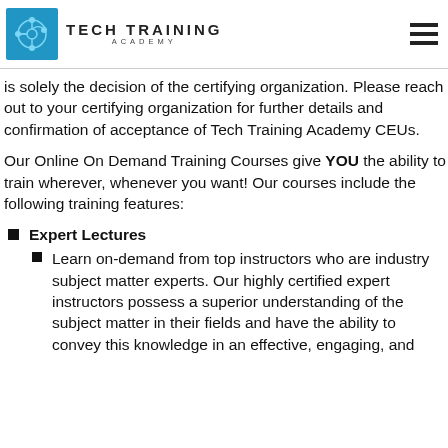Tech Training Academy
is solely the decision of the certifying organization. Please reach out to your certifying organization for further details and confirmation of acceptance of Tech Training Academy CEUs.
Our Online On Demand Training Courses give YOU the ability to train wherever, whenever you want! Our courses include the following training features:
Expert Lectures
Learn on-demand from top instructors who are industry subject matter experts. Our highly certified expert instructors possess a superior understanding of the subject matter in their fields and have the ability to convey this knowledge in an effective, engaging, and